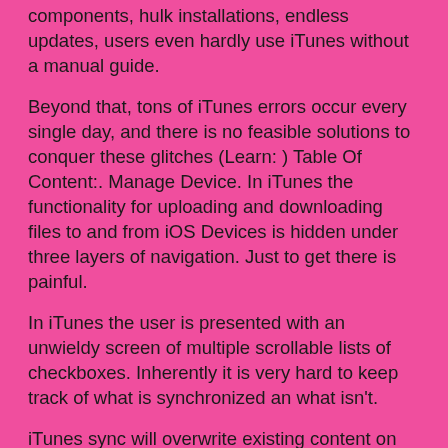components, hulk installations, endless updates, users even hardly use iTunes without a manual guide.
Beyond that, tons of iTunes errors occur every single day, and there is no feasible solutions to conquer these glitches (Learn: ) Table Of Content:. Manage Device. In iTunes the functionality for uploading and downloading files to and from iOS Devices is hidden under three layers of navigation. Just to get there is painful.
In iTunes the user is presented with an unwieldy screen of multiple scrollable lists of checkboxes. Inherently it is very hard to keep track of what is synchronized an what isn't.
iTunes sync will overwrite existing content on your device. Part 2: How To Choose The Best iTunes Alternative - 3 Factors In the past decade, iTunes serves perfectly: music, books, apps, videos purchasing, syncing, and a lot more. The more features it covers, the harder it becomes a smaller, focused, single-purpose app.
So an iTunes alternative software will rethink iTunes first, find